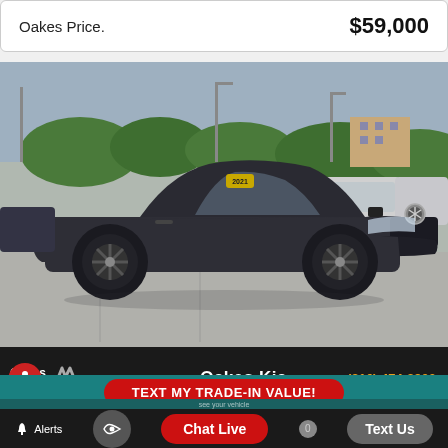Oakes Price: $59,000
[Figure (photo): Dark gray Mercedes-Benz C-Class coupe parked in a dealership lot with other vehicles visible in the background. A yellow sticker visible on the windshield reads '2021'.]
Oakes Kia | (816) 474-2900
TEXT MY TRADE-IN VALUE!
Years of Free Maintenance
Alerts | Chat Live | Text Us